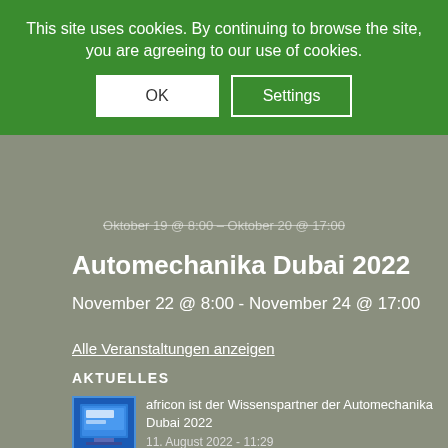This site uses cookies. By continuing to browse the site, you are agreeing to our use of cookies.
OK
Settings
Oktober 19 @ 8:00 - Oktober 20 @ 17:00
Automechanika Dubai 2022
November 22 @ 8:00 - November 24 @ 17:00
Alle Veranstaltungen anzeigen
AKTUELLES
[Figure (screenshot): Thumbnail image of a computer screen/presentation related to africon and Automechanika Dubai]
africon ist der Wissenspartner der Automechanika Dubai 2022
11. August 2022 - 11:29